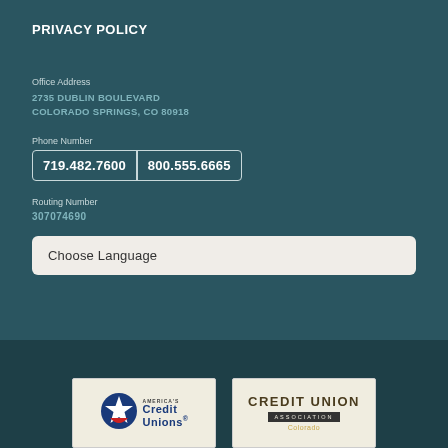PRIVACY POLICY
Office Address
2735 DUBLIN BOULEVARD
COLORADO SPRINGS, CO 80918
Phone Number
719.482.7600   800.555.6665
Routing Number
307074690
Choose Language
[Figure (logo): America's Credit Unions logo with blue star icon and text]
[Figure (logo): Credit Union Association logo with dark bar and gold text]